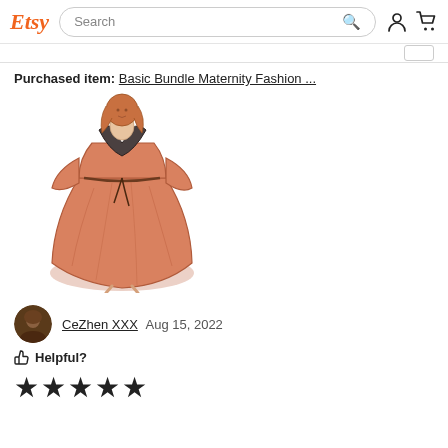Etsy Search
Purchased item: Basic Bundle Maternity Fashion ...
[Figure (illustration): Fashion illustration of a woman wearing a coral/salmon colored wrap dress with a dark fur collar and a tied belt at the waist, full skirt, drawn in a sketch/watercolor style.]
CeZhen XXX  Aug 15, 2022
Helpful?
★★★★★